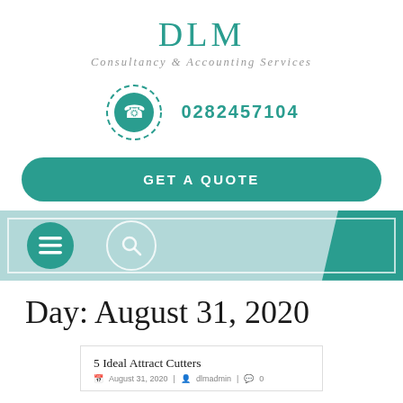DLM
Consultancy & Accounting Services
0282457104
GET A QUOTE
[Figure (screenshot): Navigation bar with hamburger menu icon and search icon on a mint/teal background with a teal corner accent]
Day: August 31, 2020
5 Ideal Attract Cutters
August 31, 2020 | dlmadmin | 0